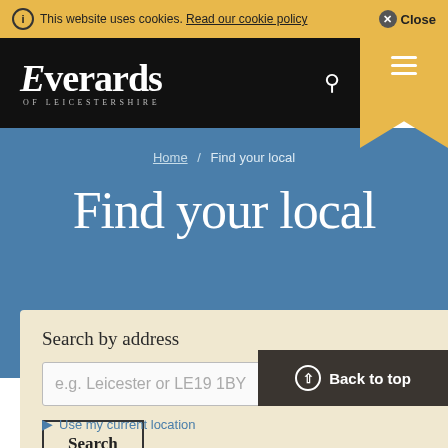This website uses cookies. Read our cookie policy   Close
[Figure (logo): Everards of Leicestershire logo - white serif text on black background with gold ribbon/bookmark on right side containing hamburger menu icon]
Home / Find your local
Find your local
Search by address
e.g. Leicester or LE19 1BY
Search
Back to top
Use my current location